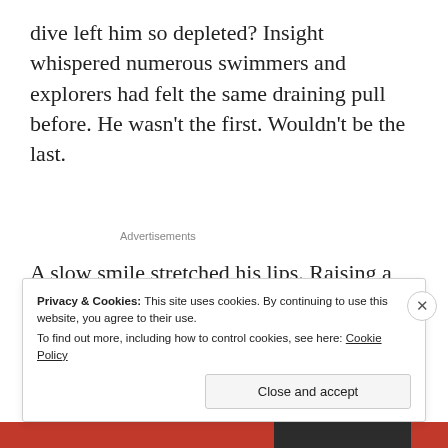dive left him so depleted? Insight whispered numerous swimmers and explorers had felt the same draining pull before. He wasn't the first. Wouldn't be the last.
Advertisements
A slow smile stretched his lips. Raising a hand, he waved to Jake who raced to the end of the pier, eager to haul him back to dry land.
Privacy & Cookies: This site uses cookies. By continuing to use this website, you agree to their use.
To find out more, including how to control cookies, see here: Cookie Policy

Close and accept